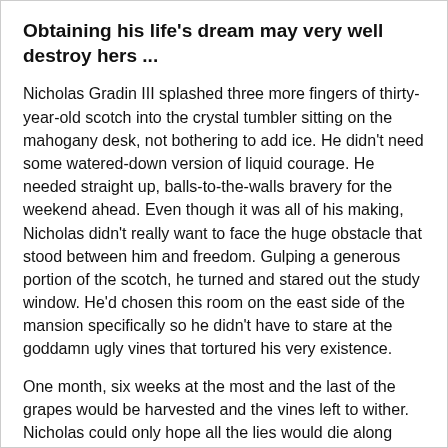Obtaining his life's dream may very well destroy hers ...
Nicholas Gradin III splashed three more fingers of thirty-year-old scotch into the crystal tumbler sitting on the mahogany desk, not bothering to add ice. He didn't need some watered-down version of liquid courage. He needed straight up, balls-to-the-walls bravery for the weekend ahead. Even though it was all of his making, Nicholas didn't really want to face the huge obstacle that stood between him and freedom. Gulping a generous portion of the scotch, he turned and stared out the study window. He'd chosen this room on the east side of the mansion specifically so he didn't have to stare at the goddamn ugly vines that tortured his very existence.
One month, six weeks at the most and the last of the grapes would be harvested and the vines left to wither. Nicholas could only hope all the lies would die along with them.
Nicholas watched the lush lawn sway in the early